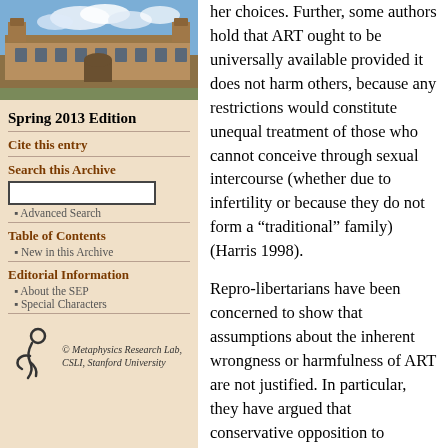[Figure (photo): Photograph of a historic stone university building (likely University of Sydney) with blue sky and clouds]
Spring 2013 Edition
Cite this entry
Search this Archive
Advanced Search
Table of Contents
New in this Archive
Editorial Information
About the SEP
Special Characters
[Figure (logo): Metaphysics Research Lab CSLI Stanford University logo with stylized figure]
© Metaphysics Research Lab, CSLI, Stanford University
her choices. Further, some authors hold that ART ought to be universally available provided it does not harm others, because any restrictions would constitute unequal treatment of those who cannot conceive through sexual intercourse (whether due to infertility or because they do not form a “traditional” family) (Harris 1998).
Repro-libertarians have been concerned to show that assumptions about the inherent wrongness or harmfulness of ART are not justified. In particular, they have argued that conservative opposition to cloning, genetic selection